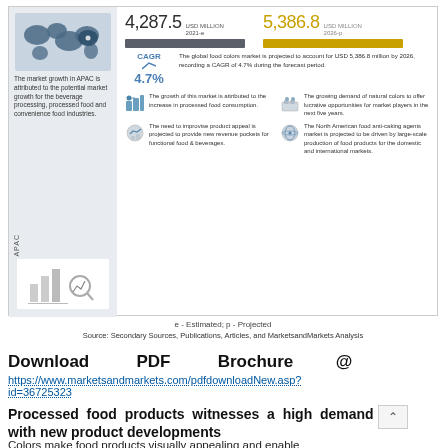[Figure (infographic): Food colors market infographic showing 4,287.5 USD Million (2021e) and 5,386.8 USD Million (2026p) with CAGR 4.7%, APAC region map on left, four bullet points about market drivers, and bar graphs for the two values.]
e - Estimated; p - Projected
Source: Secondary Sources, Publications, Articles, and MarketsandMarkets Analysis
Download PDF Brochure @ https://www.marketsandmarkets.com/pdfdownloadNew.asp?id=36725323
Processed food products witnesses a high demand with new product developments
Colors make food products visually appealing and enable